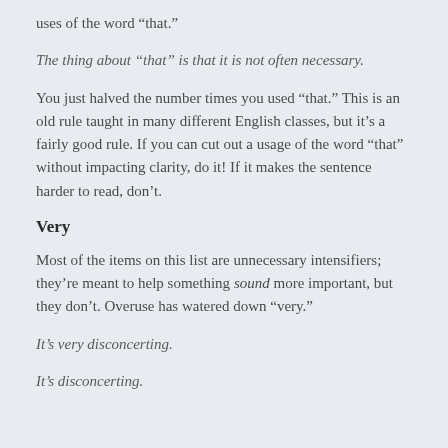uses of the word “that.”
The thing about “that” is that it is not often necessary.
You just halved the number times you used “that.” This is an old rule taught in many different English classes, but it’s a fairly good rule. If you can cut out a usage of the word “that” without impacting clarity, do it! If it makes the sentence harder to read, don’t.
Very
Most of the items on this list are unnecessary intensifiers; they’re meant to help something sound more important, but they don’t. Overuse has watered down “very.”
It’s very disconcerting.
It’s disconcerting.